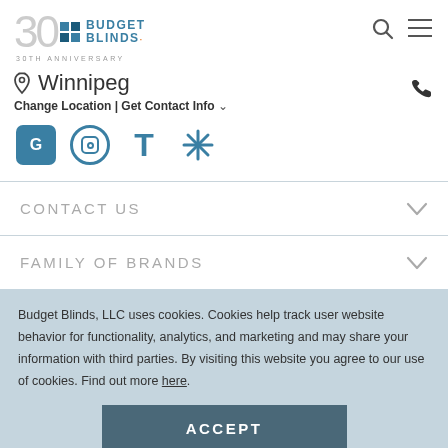[Figure (logo): Budget Blinds 30th Anniversary logo with teal squares and wordmark]
Winnipeg
Change Location | Get Contact Info
[Figure (illustration): Social media icons row: Google, Instagram, Tumblr, Yelp]
CONTACT US
FAMILY OF BRANDS
Budget Blinds, LLC uses cookies. Cookies help track user website behavior for functionality, analytics, and marketing and may share your information with third parties. By visiting this website you agree to our use of cookies. Find out more here.
ACCEPT